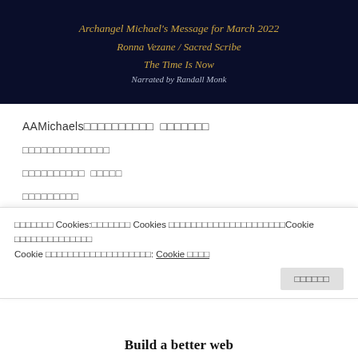[Figure (illustration): Dark blue banner with golden italic text: Archangel Michael's Message for March 2022 / Ronna Vezane / Sacred Scribe / The Time Is Now / Narrated by Randall Monk]
AAMichaels□□□□□□□□□□ □□□□□□□
□□□□□□□□□□□□□□
□□□□□□□□□□ □□□□□
□□□□□□□□□
□□□□□□□□□□□□□□□□□□□□□□□□□
on
□□□□□□□ Cookies:□□□□□□□ Cookies □□□□□□□□□□□□□□□□□□□□□Cookie □□□□□□□□□□□□□□ Cookie □□□□□□□□□□□□□□□□□□□: Cookie □□□□
□□□□□□
Build a better web